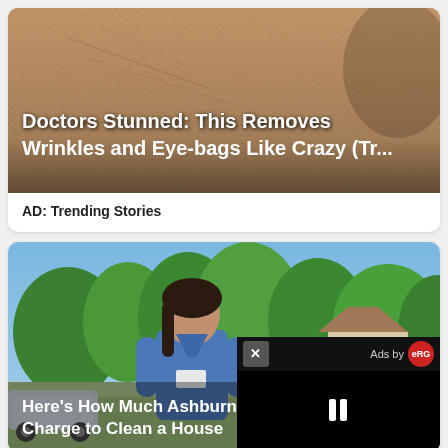[Figure (photo): Close-up photo of elderly skin with wrinkles, with white bold text overlay reading 'Doctors Stunned: This Removes Wrinkles and Eye-bags Like Crazy (Tr...']
AD: Trending Stories
[Figure (screenshot): Photo of a woman in a blue uniform shirt standing outdoors in a suburban neighborhood with cars and greenery. White bold text overlay reads 'Here's How Much Ashburn Charge to Clean a House'. An ad popup overlay in the bottom-right shows a dark video player with a pause button, 'Ads by' text, and a red circular logo.]